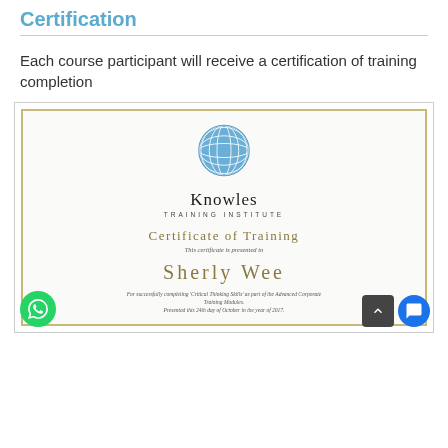Certification
Each course participant will receive a certification of training completion
[Figure (illustration): Certificate of Training from Knowles Training Institute, awarded to Sherly Wee, for successfully completing 'Critical Thinking Skills' as part of the Advanced Corporate Training Modules. Presented this 24th day of October in the year of 2017.]